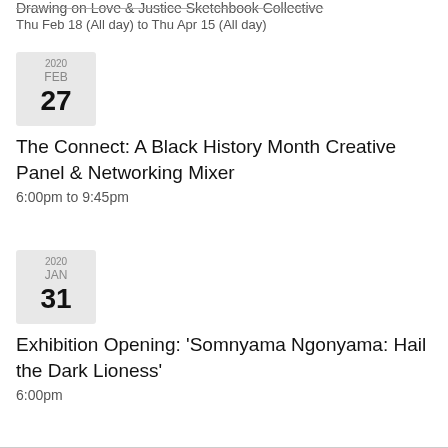Drawing on Love & Justice Sketchbook Collective
Thu Feb 18 (All day) to Thu Apr 15 (All day)
[Figure (other): Date badge showing 2020 FEB 27]
The Connect: A Black History Month Creative Panel & Networking Mixer
6:00pm to 9:45pm
[Figure (other): Date badge showing 2020 JAN 31]
Exhibition Opening: 'Somnyama Ngonyama: Hail the Dark Lioness'
6:00pm